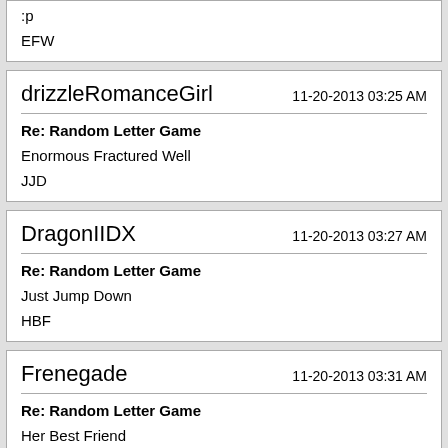:p
EFW
drizzleRomanceGirl
11-20-2013 03:25 AM
Re: Random Letter Game
Enormous Fractured Well
JJD
DragonIIDX
11-20-2013 03:27 AM
Re: Random Letter Game
Just Jump Down
HBF
Frenegade
11-20-2013 03:31 AM
Re: Random Letter Game
Her Best Friend